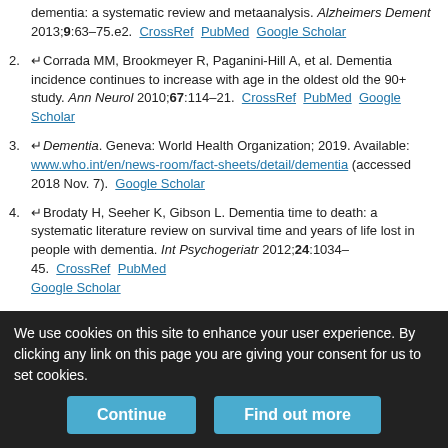dementia: a systematic review and metaanalysis. Alzheimers Dement 2013;9:63–75.e2.  CrossRef  PubMed  Google Scholar
2. Corrada MM, Brookmeyer R, Paganini-Hill A, et al. Dementia incidence continues to increase with age in the oldest old the 90+ study. Ann Neurol 2010;67:114–21.  CrossRef  PubMed  Google Scholar
3. Dementia. Geneva: World Health Organization; 2019. Available: www.who.int/en/news-room/fact-sheets/detail/dementia (accessed 2018 Nov. 7).  Google Scholar
4. Brodaty H, Seeher K, Gibson L. Dementia time to death: a systematic literature review on survival time and years of life lost in people with dementia. Int Psychogeriatr 2012;24:1034–45.  CrossRef  PubMed  Google Scholar
5. Tanuseputro P, Hsu A, Kuluski K, et al. Level of need, divertibility, and
We use cookies on this site to enhance your user experience. By clicking any link on this page you are giving your consent for us to set cookies.